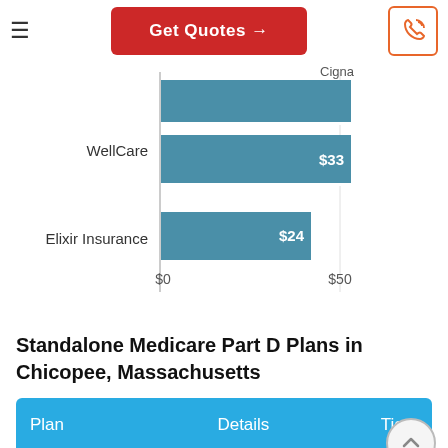Get Quotes →
[Figure (bar-chart): Medicare Part D plan premiums comparison]
Standalone Medicare Part D Plans in Chicopee, Massachusetts
| Plan | Details | Tiers |
| --- | --- | --- |
|  | Monthly |  |